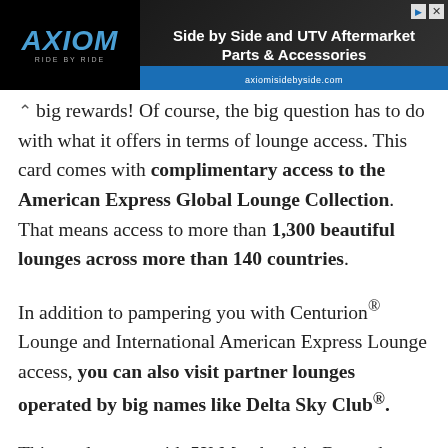[Figure (screenshot): Advertisement banner for Axiom Side by Side and UTV Aftermarket Parts & Accessories at axiomisidebyside.com]
big rewards! Of course, the big question has to do with what it offers in terms of lounge access. This card comes with complimentary access to the American Express Global Lounge Collection. That means access to more than 1,300 beautiful lounges across more than 140 countries.
In addition to pampering you with Centurion® Lounge and International American Express Lounge access, you can also visit partner lounges operated by big names like Delta Sky Club®.
This card comes with 5X Membership Rewards